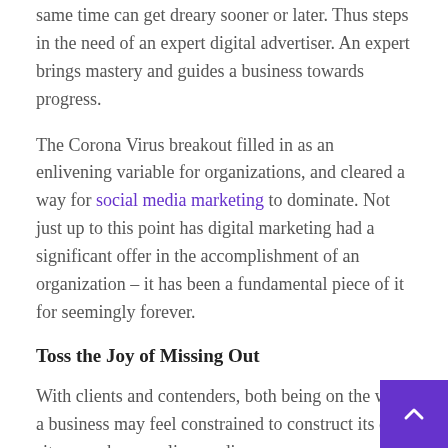same time can get dreary sooner or later. Thus steps in the need of an expert digital advertiser. An expert brings mastery and guides a business towards progress.
The Corona Virus breakout filled in as an enlivening variable for organizations, and cleared a way for social media marketing to dominate. Not just up to this point has digital marketing had a significant offer in the accomplishment of an organization – it has been a fundamental piece of it for seemingly forever.
Toss the Joy of Missing Out
With clients and contenders, both being on the web, a business may feel constrained to construct its own site or make an online media